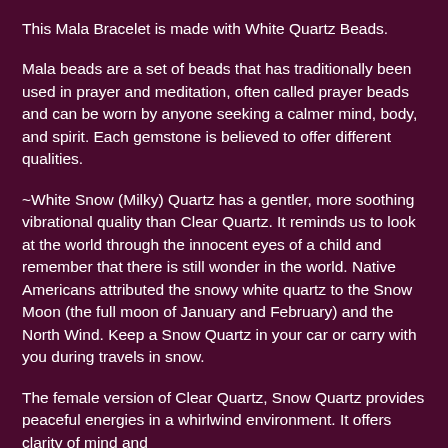This Mala Bracelet is made with White Quartz Beads.
Mala beads are a set of beads that has traditionally been used in prayer and meditation, often called prayer beads and can be worn by anyone seeking a calmer mind, body, and spirit. Each gemstone is believed to offer different qualities.
~White Snow (Milky) Quartz has a gentler, more soothing vibrational quality than Clear Quartz. It reminds us to look at the world through the innocent eyes of a child and remember that there is still wonder in the world. Native Americans attributed the snowy white quartz to the Snow Moon (the full moon of January and February) and the North Wind. Keep a Snow Quartz in your car or carry with you during travels in snow.
The female version of Clear Quartz, Snow Quartz provides peaceful energies in a whirlwind environment. It offers clarity of mind and